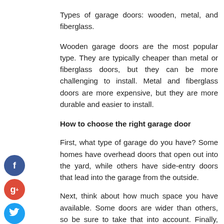Types of garage doors: wooden, metal, and fiberglass.
Wooden garage doors are the most popular type. They are typically cheaper than metal or fiberglass doors, but they can be more challenging to install. Metal and fiberglass doors are more expensive, but they are more durable and easier to install.
How to choose the right garage door
First, what type of garage do you have? Some homes have overhead doors that open out into the yard, while others have side-entry doors that lead into the garage from the outside.
Next, think about how much space you have available. Some doors are wider than others, so be sure to take that into account. Finally, consider what